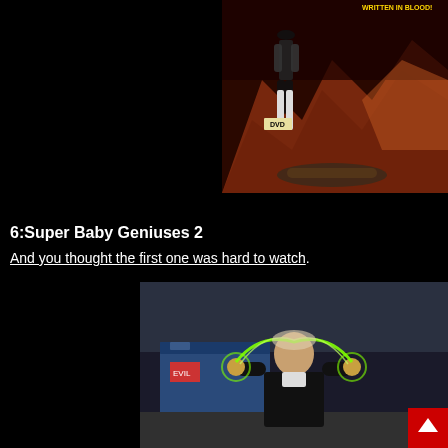[Figure (photo): DVD cover image with text 'WRITTEN IN BLOOD' at top right, showing dramatic horror-style artwork with figures in a desert/rocky setting]
6:Super Baby Geniuses 2
And you thought the first one was hard to watch.
[Figure (photo): Movie still showing a young boy in a black leather jacket with glowing green energy around his head/hands, standing in front of what appears to be a dumpster area]